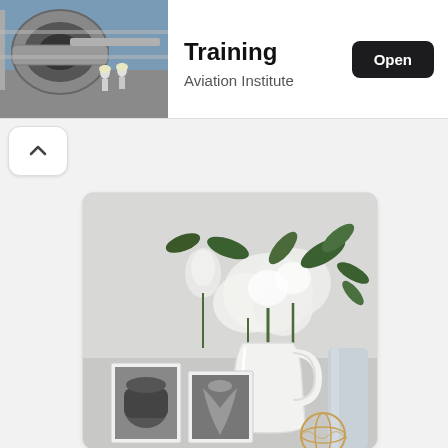[Figure (screenshot): App store listing screenshot showing Training app by Aviation Institute. Top section has airplane engine thumbnail on the left, app title 'Training' in bold, subtitle 'Aviation Institute', and a dark 'Open' button on the right. Below is a collapse chevron button. Lower half shows a card with a photograph of white flowers in a white pitcher vase with black-and-white photos and a decorative sphere on a shelf.]
Training
Aviation Institute